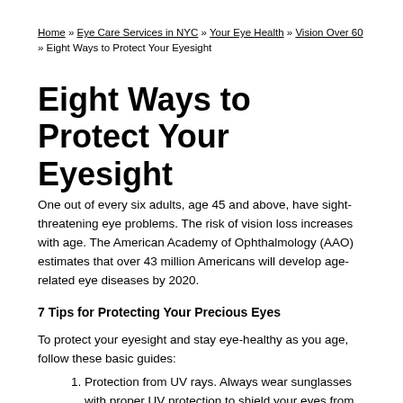Home » Eye Care Services in NYC » Your Eye Health » Vision Over 60 » Eight Ways to Protect Your Eyesight
Eight Ways to Protect Your Eyesight
One out of every six adults, age 45 and above, have sight-threatening eye problems. The risk of vision loss increases with age. The American Academy of Ophthalmology (AAO) estimates that over 43 million Americans will develop age-related eye diseases by 2020.
7 Tips for Protecting Your Precious Eyes
To protect your eyesight and stay eye-healthy as you age, follow these basic guides:
Protection from UV rays. Always wear sunglasses with proper UV protection to shield your eyes from the sun's